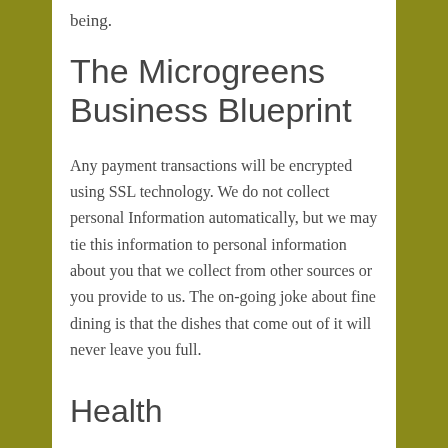being.
The Microgreens Business Blueprint
Any payment transactions will be encrypted using SSL technology. We do not collect personal Information automatically, but we may tie this information to personal information about you that we collect from other sources or you provide to us. The on-going joke about fine dining is that the dishes that come out of it will never leave you full.
Health
Overly wet potting soil is too much water for microgreens and can rot seeds before they have the